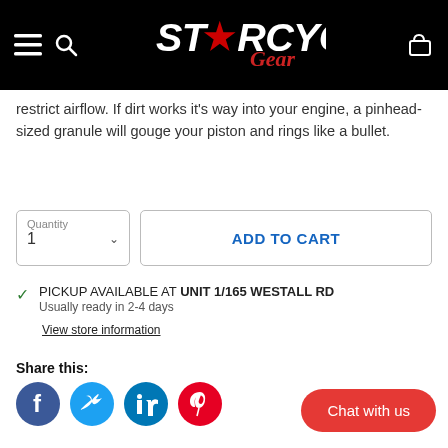StarCycle Gear - navigation header with hamburger menu, search, logo, and cart
restrict airflow. If dirt works it's way into your engine, a pinhead-sized granule will gouge your piston and rings like a bullet.
Quantity 1 | ADD TO CART
PICKUP AVAILABLE AT UNIT 1/165 WESTALL RD
Usually ready in 2-4 days
View store information
Share this:
[Figure (infographic): Social share icons: Facebook (blue circle), Twitter (teal circle), LinkedIn (blue circle), Pinterest (red circle)]
Chat with us